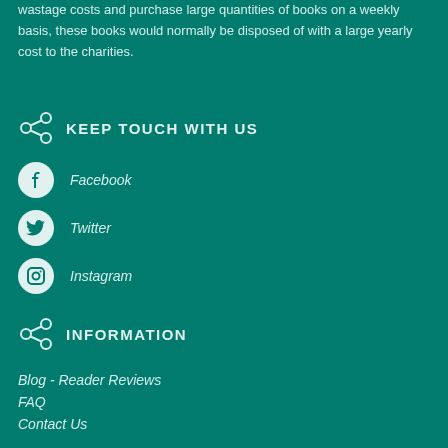wastage costs and purchase large quantities of books on a weekly basis, these books would normally be disposed of with a large yearly cost to the charities.
KEEP TOUCH WITH US
Facebook
Twitter
Instagram
INFORMATION
Blog - Reader Reviews
FAQ
Contact Us